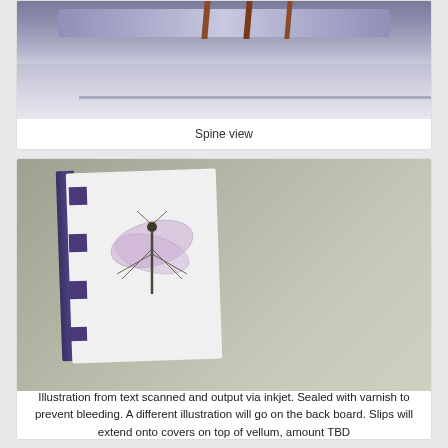[Figure (photo): Close-up photo of a book spine view showing rolled binding material, red/brown straps across the top, and a light-colored board below]
Spine view
[Figure (photo): Photo of a handmade book with a white cover featuring a dragonfly illustration, dark navy spine, and purple/dark fabric tabs extending from the spine]
Illustration from text scanned and output via inkjet. Sealed with varnish to prevent bleeding. A different illustration will go on the back board. Slips will extend onto covers on top of vellum, amount TBD